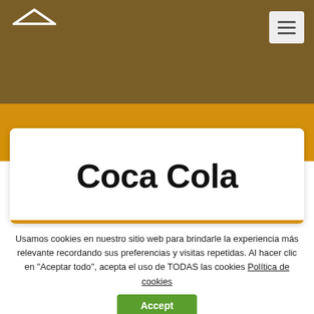[Figure (logo): White roof/house logo icon on dark olive/brown header background]
[Figure (other): Hamburger menu button (three horizontal lines) on light gray square button, top right corner]
Coca Cola
Usamos cookies en nuestro sitio web para brindarle la experiencia más relevante recordando sus preferencias y visitas repetidas. Al hacer clic en "Aceptar todo", acepta el uso de TODAS las cookies Política de cookies
Accept